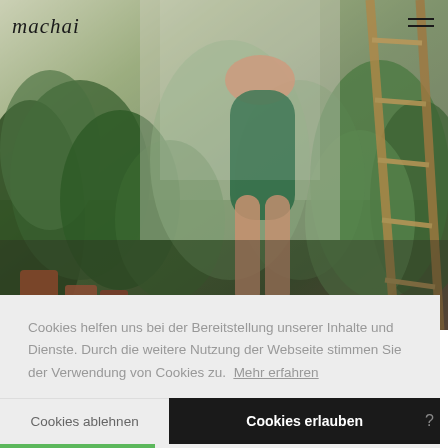[Figure (photo): A person wearing a dark green bodysuit sitting on a wooden ladder surrounded by lush green tropical plants and terracotta pots in a greenhouse or plant-filled interior space.]
Cookies helfen uns bei der Bereitstellung unserer Inhalte und Dienste. Durch die weitere Nutzung der Webseite stimmen Sie der Verwendung von Cookies zu.  Mehr erfahren
Cookies ablehnen
Cookies erlauben